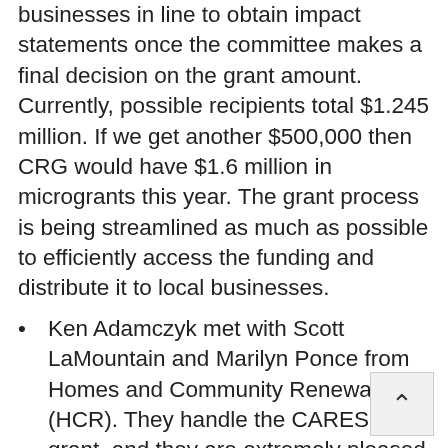businesses in line to obtain impact statements once the committee makes a final decision on the grant amount. Currently, possible recipients total $1.245 million. If we get another $500,000 then CRG would have $1.6 million in microgrants this year. The grant process is being streamlined as much as possible to efficiently access the funding and distribute it to local businesses.
Ken Adamczyk met with Scott LaMountain and Marilyn Ponce from Homes and Community Renewal (HCR). They handle the CARES Act grant, and they are extremely pleased with the way CRG tabulates the grantee